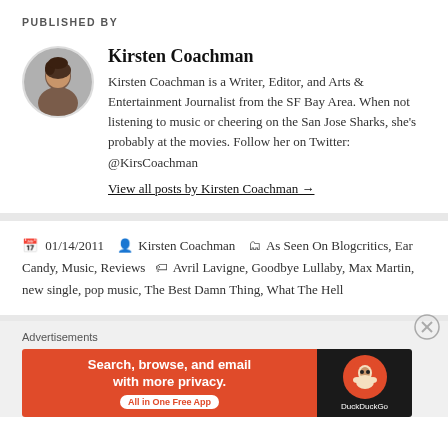PUBLISHED BY
[Figure (photo): Circular avatar photo of Kirsten Coachman, a woman with dark hair, smiling]
Kirsten Coachman
Kirsten Coachman is a Writer, Editor, and Arts & Entertainment Journalist from the SF Bay Area. When not listening to music or cheering on the San Jose Sharks, she's probably at the movies. Follow her on Twitter: @KirsCoachman
View all posts by Kirsten Coachman →
01/14/2011  Kirsten Coachman  As Seen On Blogcritics, Ear Candy, Music, Reviews  Avril Lavigne, Goodbye Lullaby, Max Martin, new single, pop music, The Best Damn Thing, What The Hell
[Figure (other): DuckDuckGo advertisement banner: orange left panel with text 'Search, browse, and email with more privacy. All in One Free App' and dark right panel with DuckDuckGo duck logo]